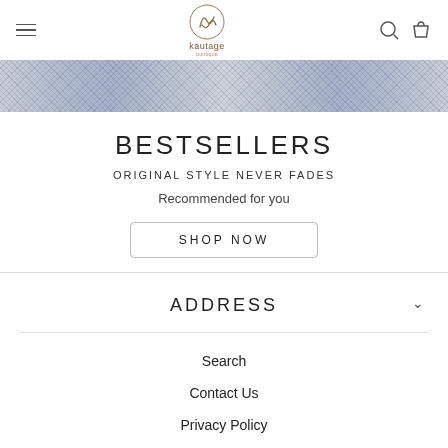kautage — navigation header with hamburger menu, logo, search and cart icons
[Figure (photo): Decorative blue and white patterned fabric or tile banner image]
BESTSELLERS
ORIGINAL STYLE NEVER FADES
Recommended for you
SHOP NOW
ADDRESS
Search
Contact Us
Privacy Policy